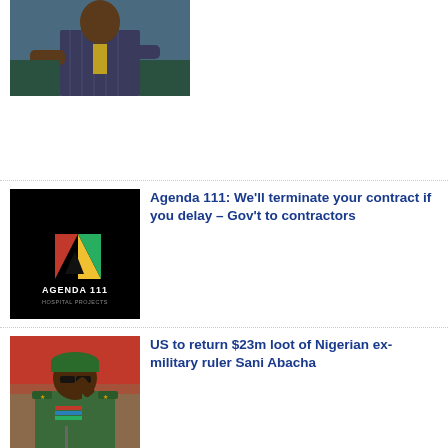[Figure (photo): Man in pinstripe suit seated, partial view at top of page]
[Figure (logo): Agenda 111 Hospital Projects logo on black background]
Agenda 111: We'll terminate your contract if you delay – Gov't to contractors
[Figure (photo): Nigerian military ruler Sani Abacha in uniform saluting]
US to return $23m loot of Nigerian ex-military ruler Sani Abacha
[Figure (photo): HIV related image, partial view at bottom]
HIV in Ghana: 23,495 test positive in 6 months